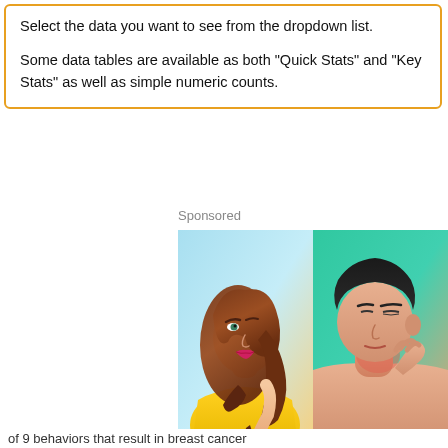Select the data you want to see from the dropdown list.

Some data tables are available as both "Quick Stats" and "Key Stats" as well as simple numeric counts.
Sponsored
[Figure (illustration): Two-panel illustrated advertisement. Left panel shows a cartoon woman with long brown hair wearing a yellow top against a light blue background, touching her hair. Right panel shows a cartoon person with reddish skin touching their neck/throat against a teal/green background.]
of 9 behaviors that result in breast cancer